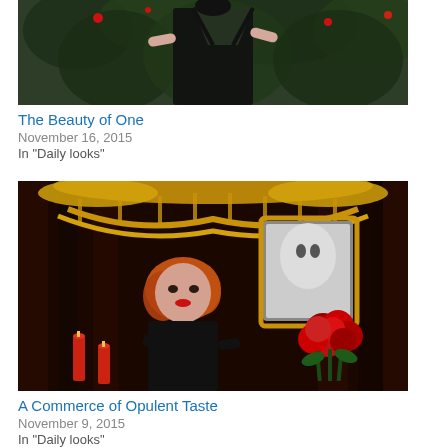[Figure (photo): Woman in black backless dress facing away, standing in front of green rose bushes with red roses]
The Beauty of One
November 16, 2015
In "Daily looks"
[Figure (photo): Woman with red hair wearing black gloves seated near red roses, candles, with ornate gold chandelier and portrait in background]
A Commerce of Opulent Taste
November 9, 2015
In "Daily looks"